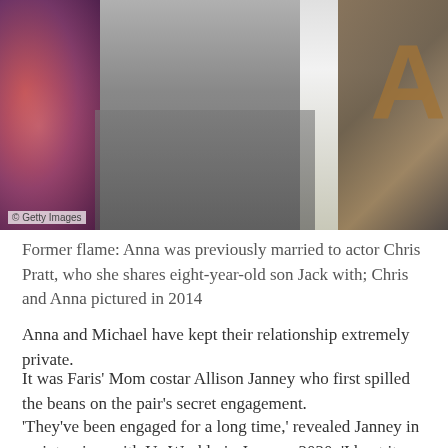[Figure (photo): Photo of two people at an event, cropped showing torsos. A man in a grey suit on the left and a woman in a white dress on the right. Getty Images watermark visible in lower left.]
Former flame: Anna was previously married to actor Chris Pratt, who she shares eight-year-old son Jack with; Chris and Anna pictured in 2014
Anna and Michael have kept their relationship extremely private.
It was Faris' Mom costar Allison Janney who first spilled the beans on the pair's secret engagement.
'They've been engaged for a long time,' revealed Janney in an interview with Us Weekly in January 2020. 'I kept it